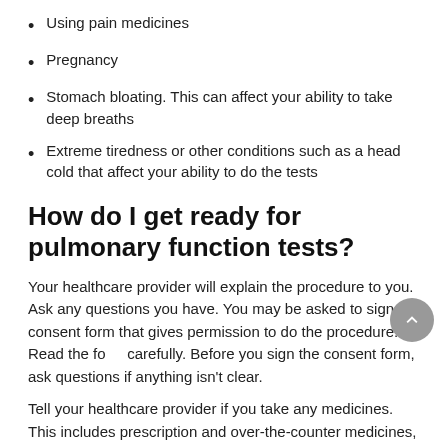Using pain medicines
Pregnancy
Stomach bloating. This can affect your ability to take deep breaths
Extreme tiredness or other conditions such as a head cold that affect your ability to do the tests
How do I get ready for pulmonary function tests?
Your healthcare provider will explain the procedure to you. Ask any questions you have. You may be asked to sign a consent form that gives permission to do the procedure. Read the form carefully. Before you sign the consent form, ask questions if anything isn't clear.
Tell your healthcare provider if you take any medicines. This includes prescription and over-the-counter medicines, vitamins, herbs, and other supplements.